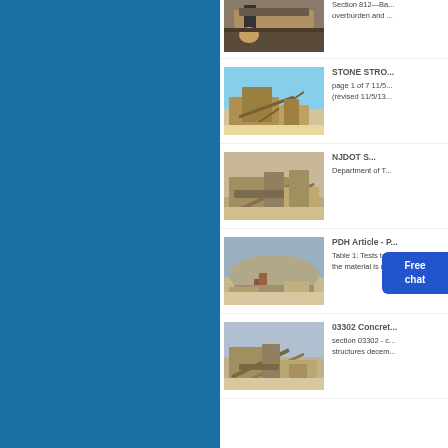[Figure (photo): Aerial/ground view of a mining conveyor belt operation, partial crop at top]
Section 812—Ba... overburden and ...
[Figure (photo): Quarry with large crushing/screening equipment under clear blue sky]
STONE STRO... page 1 of 7 11/5... (revised 11/5/13...
[Figure (photo): Large stone crushing plant facility with conveyor belts]
NJDOT S... Department of T...
[Figure (photo): Aerial view of a large quarry/mining site with processing equipment]
PDH Article - P... Table 1: Tests to... the material is ne...
[Figure (photo): Stone crushing plant with conveyor belts and processing equipment]
03302 Concret... section 03302 - c... structures decem...